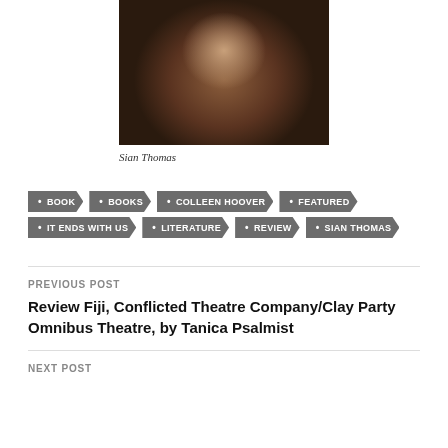[Figure (photo): Portrait photo of a young woman with curly auburn hair, wearing a black turtleneck and earrings, posing with hand near face against a blurred outdoor background.]
Sian Thomas
BOOK
BOOKS
COLLEEN HOOVER
FEATURED
IT ENDS WITH US
LITERATURE
REVIEW
SIAN THOMAS
PREVIOUS POST
Review Fiji, Conflicted Theatre Company/Clay Party Omnibus Theatre, by Tanica Psalmist
NEXT POST